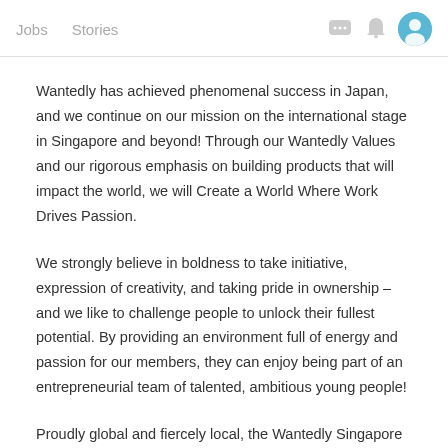Jobs  Stories
Wantedly has achieved phenomenal success in Japan, and we continue on our mission on the international stage in Singapore and beyond! Through our Wantedly Values and our rigorous emphasis on building products that will impact the world, we will Create a World Where Work Drives Passion.
We strongly believe in boldness to take initiative, expression of creativity, and taking pride in ownership – and we like to challenge people to unlock their fullest potential. By providing an environment full of energy and passion for our members, they can enjoy being part of an entrepreneurial team of talented, ambitious young people!
Proudly global and fiercely local, the Wantedly Singapore Squad comprises of an international team who have all come to embrace our